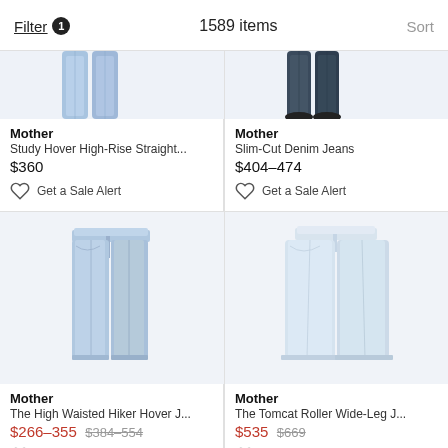Filter 1   1589 items   Sort
[Figure (photo): Mother Study Hover High-Rise Straight jeans product image (cropped, light blue denim)]
Mother
Study Hover High-Rise Straight...
$360
Get a Sale Alert
[Figure (photo): Mother Slim-Cut Denim Jeans product image (cropped, dark denim)]
Mother
Slim-Cut Denim Jeans
$404–474
Get a Sale Alert
[Figure (photo): Mother The High Waisted Hiker Hover jeans full product image (light blue denim, straight leg)]
Mother
The High Waisted Hiker Hover J...
$266–355 $384–554
Get a Sale Alert
[Figure (photo): Mother The Tomcat Roller Wide-Leg jeans full product image (very light/white denim, wide leg)]
Mother
The Tomcat Roller Wide-Leg J...
$535 $669
Get a Sale Alert